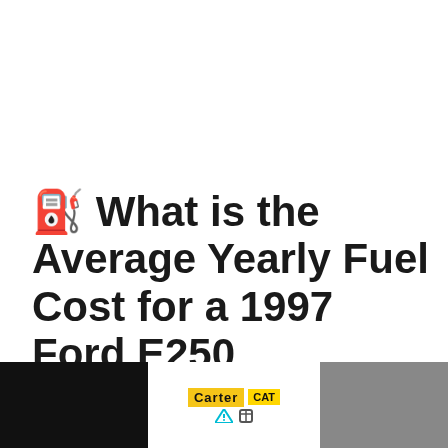⛽ What is the Average Yearly Fuel Cost for a 1997 Ford E250 Econoline 2WD?
The average fuel costs for all models of t... 2WD
[Figure (other): Advertisement banner for Carter CAT showing logo and construction equipment photo]